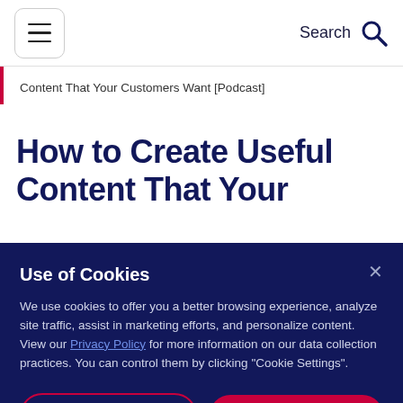Search
Content That Your Customers Want [Podcast]
How to Create Useful Content That Your
Use of Cookies
We use cookies to offer you a better browsing experience, analyze site traffic, assist in marketing efforts, and personalize content. View our Privacy Policy for more information on our data collection practices. You can control them by clicking "Cookie Settings".
Cookies Settings | Accept All Cookies